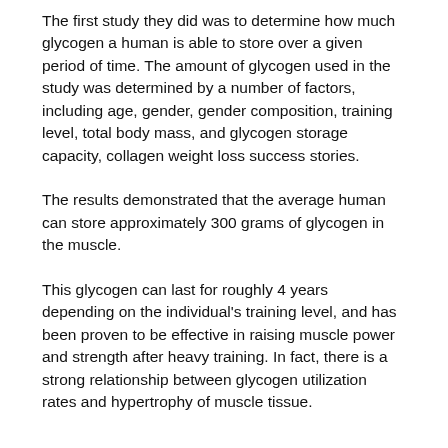The first study they did was to determine how much glycogen a human is able to store over a given period of time. The amount of glycogen used in the study was determined by a number of factors, including age, gender, gender composition, training level, total body mass, and glycogen storage capacity, collagen weight loss success stories.
The results demonstrated that the average human can store approximately 300 grams of glycogen in the muscle.
This glycogen can last for roughly 4 years depending on the individual's training level, and has been proven to be effective in raising muscle power and strength after heavy training. In fact, there is a strong relationship between glycogen utilization rates and hypertrophy of muscle tissue.